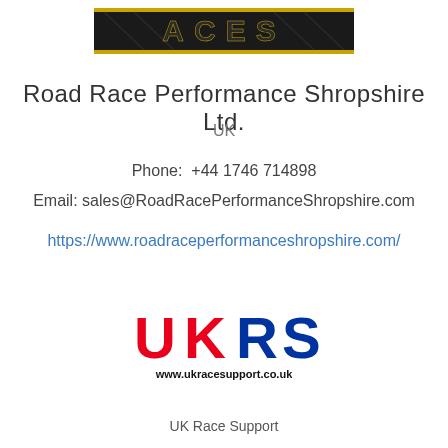[Figure (logo): ACES stylized dark logo with gold trim at top of page]
Road Race Performance Shropshire Ltd.
UK
Phone:  +44 1746 714898
Email: sales@RoadRacePerformanceShropshire.com
https://www.roadraceperformanceshropshire.com/
[Figure (logo): UKRS logo in red, blue and black with www.ukracesupport.co.uk text below]
UK Race Support